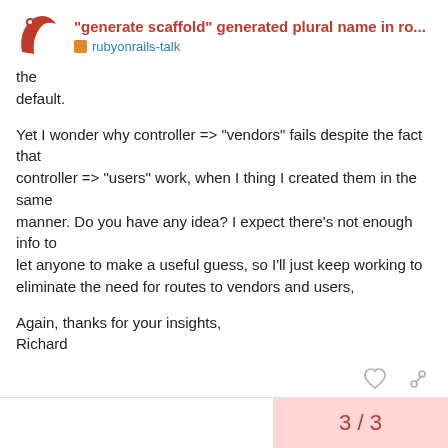"generate scaffold" generated plural name in ro... rubyonrails-talk
the
default.

Yet I wonder why controller => "vendors" fails despite the fact that
controller => "users" work, when I thing I created them in the same
manner. Do you have any idea? I expect there's not enough info to
let anyone to make a useful guess, so I'll just keep working to
eliminate the need for routes to vendors and users,

Again, thanks for your insights,
Richard
3 / 3